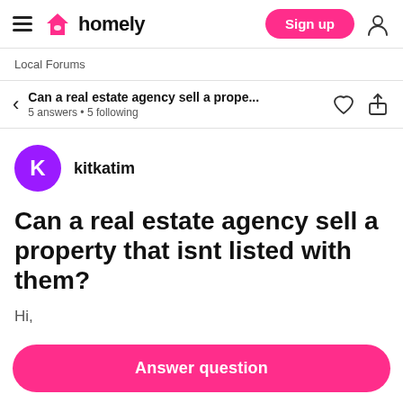homely — Sign up
Local Forums
Can a real estate estate agency sell a prope... 5 answers • 5 following
kitkatim
Can a real estate agency sell a property that isnt listed with them?
Hi,